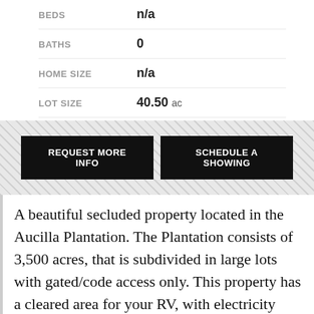| Field | Value |
| --- | --- |
| BEDS | n/a |
| BATHS | 0 |
| HOME SIZE | n/a |
| LOT SIZE | 40.50 ac |
[Figure (other): Two black call-to-action buttons on a hatched grey background: REQUEST MORE INFO and SCHEDULE A SHOWING]
A beautiful secluded property located in the Aucilla Plantation. The Plantation consists of 3,500 acres, that is subdivided in large lots with gated/code access only. This property has a cleared area for your RV, with electricity already present. There is even more access to this 40.5 acres with a road that runs through part of the property. This property is in an HOA of $425 a year. With few full time residence the Aucilla Plantation is abundant with wild life. Hunting and outdoor activities are allowed